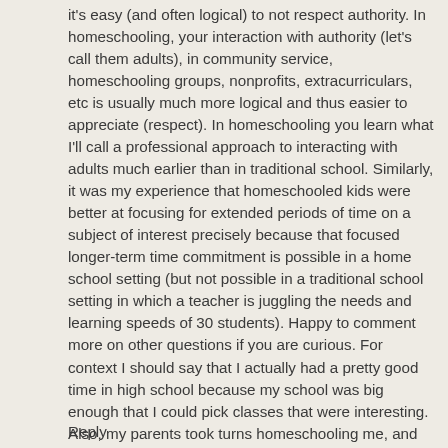it's easy (and often logical) to not respect authority. In homeschooling, your interaction with authority (let's call them adults), in community service, homeschooling groups, nonprofits, extracurriculars, etc is usually much more logical and thus easier to appreciate (respect). In homeschooling you learn what I'll call a professional approach to interacting with adults much earlier than in traditional school. Similarly, it was my experience that homeschooled kids were better at focusing for extended periods of time on a subject of interest precisely because that focused longer-term time commitment is possible in a home school setting (but not possible in a traditional school setting in which a teacher is juggling the needs and learning speeds of 30 students). Happy to comment more on other questions if you are curious. For context I should say that I actually had a pretty good time in high school because my school was big enough that I could pick classes that were interesting. Also, my parents took turns homeschooling me, and we were members of multiple homeschooling groups.
Reply